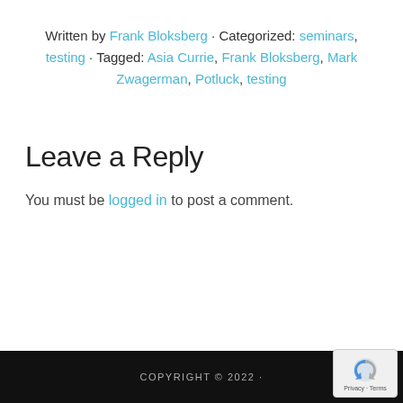Written by Frank Bloksberg · Categorized: seminars, testing · Tagged: Asia Currie, Frank Bloksberg, Mark Zwagerman, Potluck, testing
Leave a Reply
You must be logged in to post a comment.
COPYRIGHT © 2022 ·